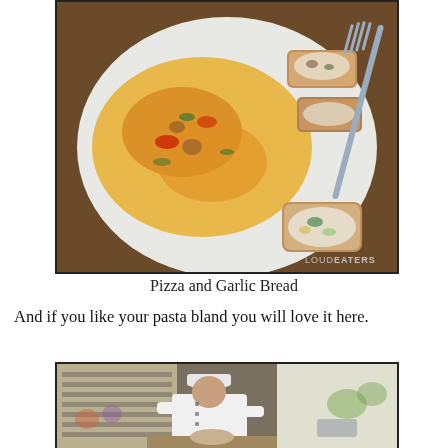[Figure (photo): A white plate with a cheese-topped pizza flatbread and slices of garlic bread with toppings, and a fork resting on the plate. A watermark reads 'LOUDEATERS' in the bottom right.]
Pizza and Garlic Bread
And if you like your pasta bland you will love it here.
[Figure (photo): A chef in a white uniform and hat preparing food at a counter, with a window with horizontal blinds visible in the background showing a busy street outside.]